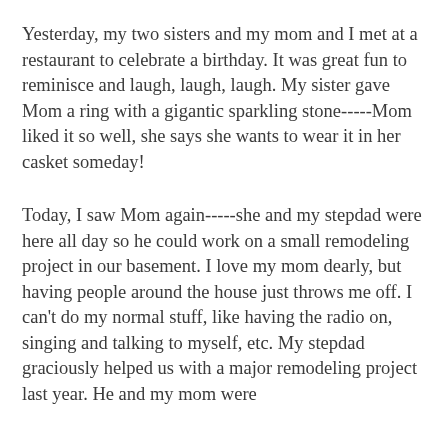Yesterday, my two sisters and my mom and I met at a restaurant to celebrate a birthday. It was great fun to reminisce and laugh, laugh, laugh. My sister gave Mom a ring with a gigantic sparkling stone-----Mom liked it so well, she says she wants to wear it in her casket someday!
Today, I saw Mom again-----she and my stepdad were here all day so he could work on a small remodeling project in our basement. I love my mom dearly, but having people around the house just throws me off. I can't do my normal stuff, like having the radio on, singing and talking to myself, etc. My stepdad graciously helped us with a major remodeling project last year. He and my mom were